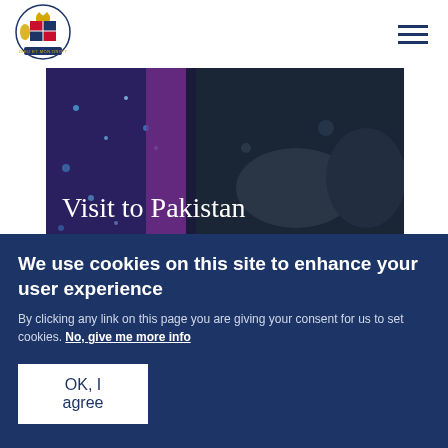[Figure (logo): UK Government coat of arms logo]
[Figure (photo): Photo of people at an event with text 'Visit to Pakistan' overlaid]
[Figure (photo): Photo of two people with 'NEWS' label overlaid]
We use cookies on this site to enhance your user experience
By clicking any link on this page you are giving your consent for us to set cookies. No, give me more info
OK, I agree